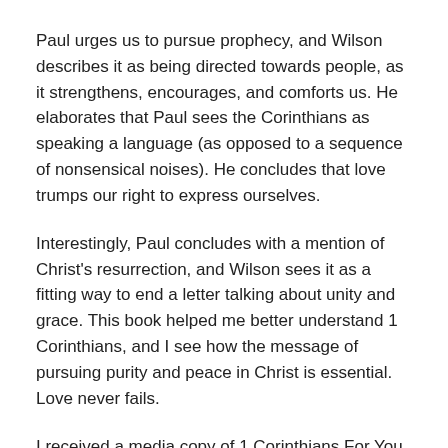Paul urges us to pursue prophecy, and Wilson describes it as being directed towards people, as it strengthens, encourages, and comforts us. He elaborates that Paul sees the Corinthians as speaking a language (as opposed to a sequence of nonsensical noises). He concludes that love trumps our right to express ourselves.
Interestingly, Paul concludes with a mention of Christ's resurrection, and Wilson sees it as a fitting way to end a letter talking about unity and grace. This book helped me better understand 1 Corinthians, and I see how the message of pursuing purity and peace in Christ is essential. Love never fails.
I received a media copy of 1 Corinthians For You and this is my honest review.